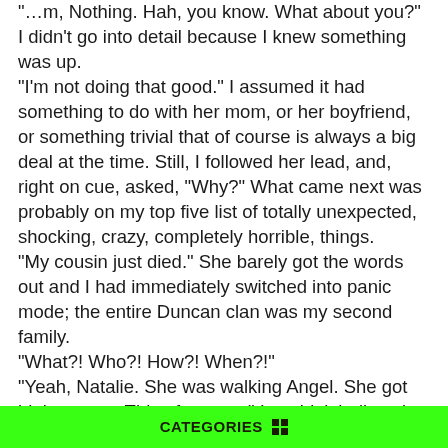"…m, Nothing. Hah, you know. What about you?" I didn't go into detail because I knew something was up.
"I'm not doing that good." I assumed it had something to do with her mom, or her boyfriend, or something trivial that of course is always a big deal at the time. Still, I followed her lead, and, right on cue, asked, "Why?" What came next was probably on my top five list of totally unexpected, shocking, crazy, completely horrible, things.
"My cousin just died." She barely got the words out and I had immediately switched into panic mode; the entire Duncan clan was my second family.
"What?! Who?! How?! When?!"
"Yeah, Natalie. She was walking Angel. She got hit by a tree. This afternoon." I couldn't believe it. My mind flashed to this sweet little girl, not even ten years old… There. Was. No. Way. Just last summer we had been in the pool at Aunt Eaka and Uncle Dave's house, swimming and laughing. Natalie had been teaching her dog, Angel, to ride the floats while she swam along side. We had hotdogs and corn on the cob that Uncle Dave made on the grill, and we had eaten apple pie for
CATEGORIES